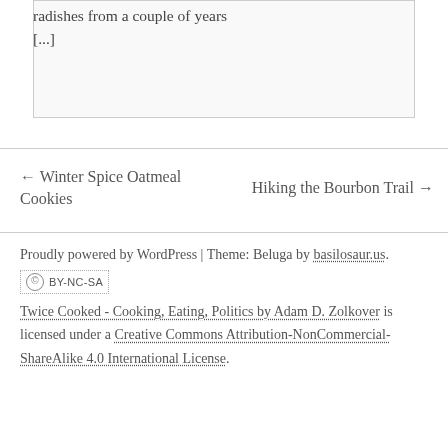radishes from a couple of years [...]
← Winter Spice Oatmeal Cookies
Hiking the Bourbon Trail →
Proudly powered by WordPress | Theme: Beluga by basilosaur.us.
[Figure (logo): Creative Commons BY-NC-SA license badge]
Twice Cooked - Cooking, Eating, Politics by Adam D. Zolkover is licensed under a Creative Commons Attribution-NonCommercial-ShareAlike 4.0 International License.